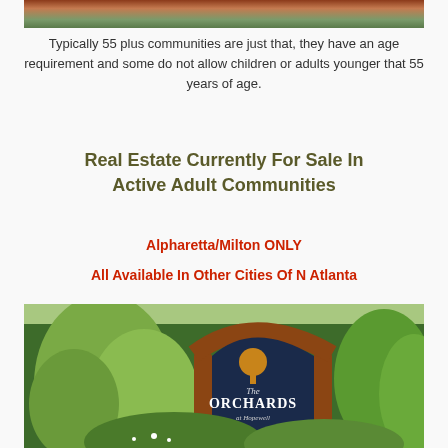[Figure (photo): Top portion of a brick building with windows and greenery, partially cropped]
Typically 55 plus communities are just that, they have an age requirement and some do not allow children or adults younger that 55 years of age.
Real Estate Currently For Sale In Active Adult Communities
Alpharetta/Milton ONLY
All Available In Other Cities Of N Atlanta
[Figure (photo): The Orchards at Hopewell community entrance sign with brick arch and ornamental grasses in foreground]